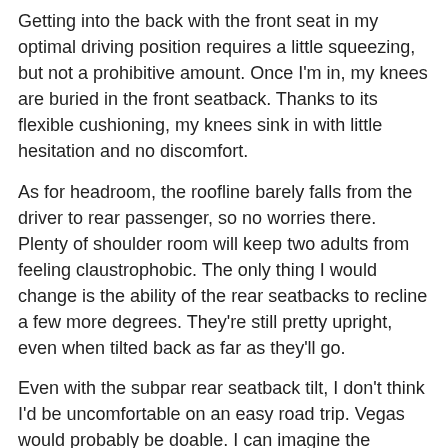Getting into the back with the front seat in my optimal driving position requires a little squeezing, but not a prohibitive amount. Once I'm in, my knees are buried in the front seatback. Thanks to its flexible cushioning, my knees sink in with little hesitation and no discomfort.
As for headroom, the roofline barely falls from the driver to rear passenger, so no worries there. Plenty of shoulder room will keep two adults from feeling claustrophobic. The only thing I would change is the ability of the rear seatbacks to recline a few more degrees. They're still pretty upright, even when tilted back as far as they'll go.
Even with the subpar rear seatback tilt, I don't think I'd be uncomfortable on an easy road trip. Vegas would probably be doable. I can imagine the upright seating position and constant light pressure on my knees would be irritating as a passenger on a trip as long as Los Angeles to Detroit (trips that Travis and Magrath made). But for around town and close destinations, the Renegade should be an amicable